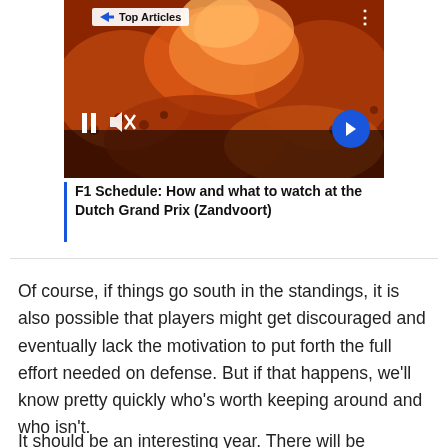[Figure (screenshot): A video thumbnail showing a crowd of people with orange smoke, with a 'Top Articles' badge, pause button, mute icon, and a blue forward arrow button. The image is part of an article card for an F1 article.]
F1 Schedule: How and what to watch at the Dutch Grand Prix (Zandvoort)
Of course, if things go south in the standings, it is also possible that players might get discouraged and eventually lack the motivation to put forth the full effort needed on defense. But if that happens, we'll know pretty quickly who's worth keeping around and who isn't.
It should be an interesting year. There will be growing